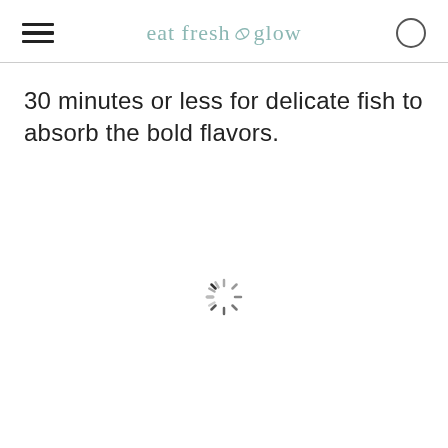eat fresh glow
30 minutes or less for delicate fish to absorb the bold flavors.
[Figure (other): Loading spinner animation — a circular arrangement of short radial lines in varying shades of gray, indicating content is loading.]